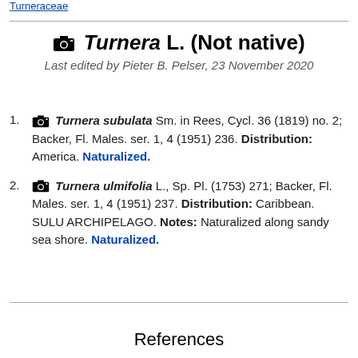Turneraceae
Turnera L. (Not native)
Last edited by Pieter B. Pelser, 23 November 2020
Turnera subulata Sm. in Rees, Cycl. 36 (1819) no. 2; Backer, Fl. Males. ser. 1, 4 (1951) 236. Distribution: America. Naturalized.
Turnera ulmifolia L., Sp. Pl. (1753) 271; Backer, Fl. Males. ser. 1, 4 (1951) 237. Distribution: Caribbean. SULU ARCHIPELAGO. Notes: Naturalized along sandy sea shore. Naturalized.
References